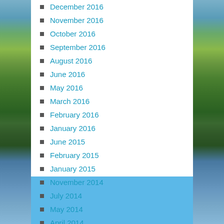December 2016
November 2016
October 2016
September 2016
August 2016
June 2016
May 2016
March 2016
February 2016
January 2016
June 2015
February 2015
January 2015
November 2014
July 2014
May 2014
April 2014
March 2014
February 2014
January 2014
December 2013